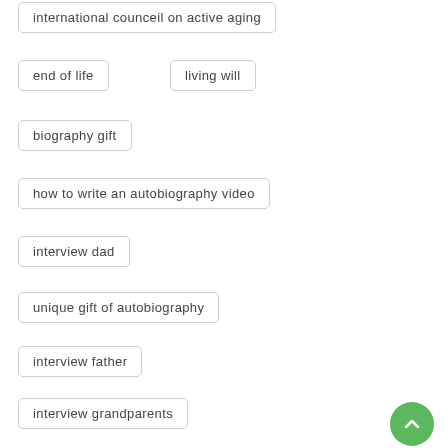international counceil on active aging
end of life
living will
biography gift
how to write an autobiography video
interview dad
unique gift of autobiography
interview father
interview grandparents
grandparents memories
aahsa
life care services
celebration of life